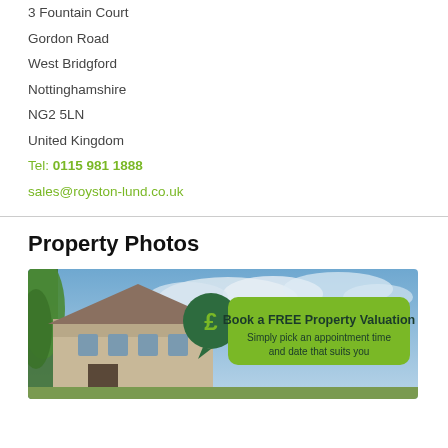3 Fountain Court
Gordon Road
West Bridgford
Nottinghamshire
NG2 5LN
United Kingdom
Tel: 0115 981 1888
sales@royston-lund.co.uk
Property Photos
[Figure (photo): Exterior photo of a property with trees and sky visible, overlaid with a green badge showing a pound sign circle and a green box reading 'Book a FREE Property Valuation – Simply pick an appointment time and date that suits you']